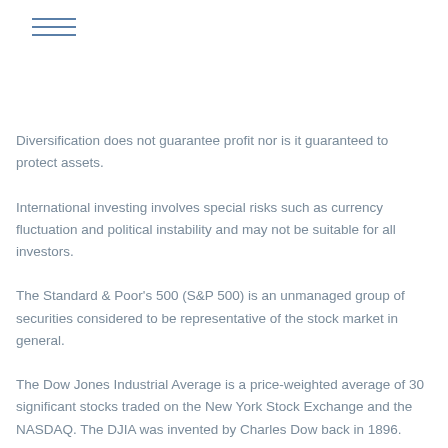menu icon (hamburger)
Diversification does not guarantee profit nor is it guaranteed to protect assets.
International investing involves special risks such as currency fluctuation and political instability and may not be suitable for all investors.
The Standard & Poor's 500 (S&P 500) is an unmanaged group of securities considered to be representative of the stock market in general.
The Dow Jones Industrial Average is a price-weighted average of 30 significant stocks traded on the New York Stock Exchange and the NASDAQ. The DJIA was invented by Charles Dow back in 1896.